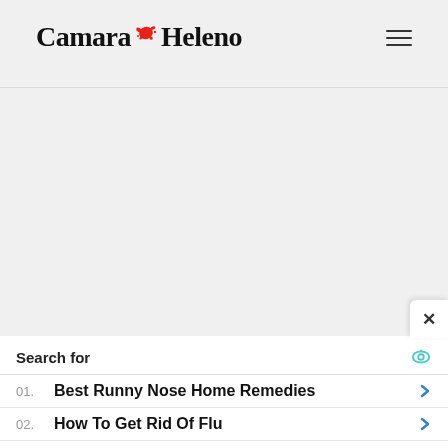Camara Heleno
[Figure (screenshot): Empty gray content area]
Search for
01. Best Runny Nose Home Remedies
02. How To Get Rid Of Flu
Yahoo! Search | Sponsored